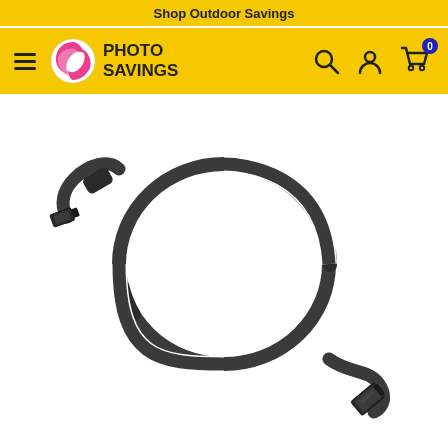Shop Outdoor Savings
[Figure (logo): Photo Savings logo with circular red/pink swirl icon and PHOTO SAVINGS text, navigation bar with hamburger menu, search icon, user icon, and cart icon with badge 0, all on yellow background]
[Figure (photo): A black USB to Mini-USB cable coiled in a loop, with Mini-USB connector on the left and standard USB-A connector on the bottom right, on white background]